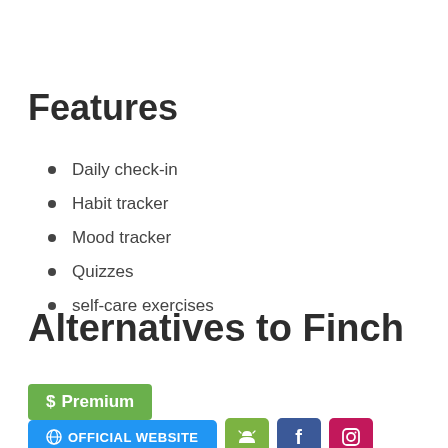Features
Daily check-in
Habit tracker
Mood tracker
Quizzes
self-care exercises
Alternatives to Finch
$ Premium
OFFICIAL WEBSITE